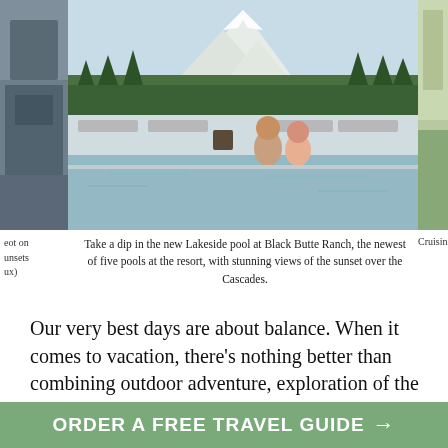[Figure (photo): A couple sitting at the edge of a pool at Black Butte Ranch, with lounge chairs and mountain/Cascade views in the background. Left and right partial images cropped at edges.]
Take a dip in the new Lakeside pool at Black Butte Ranch, the newest of five pools at the resort, with stunning views of the sunset over the Cascades.
Our very best days are about balance. When it comes to vacation, there's nothing better than combining outdoor adventure, exploration of the area and a relaxing stay at a luxury lodging.
Central Oregon is an ideal spot to do this: an outdoor playground that surrounds a culturally vibrant scene, filled with all the comforts of home.
ORDER A FREE TRAVEL GUIDE →